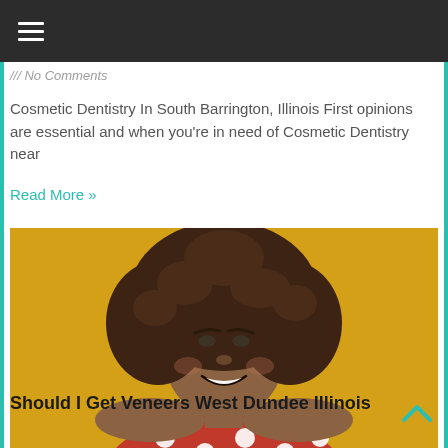≡ (navigation menu)
/// No Comments
Cosmetic Dentistry In South Barrington, Illinois First opinions are essential and when you're in need of Cosmetic Dentistry near
Read More »
[Figure (photo): A smiling young woman with curly hair, wearing a red polka-dot off-shoulder top, photographed against a yellow/golden background]
Should I Get Veneers West Dundee Illinois